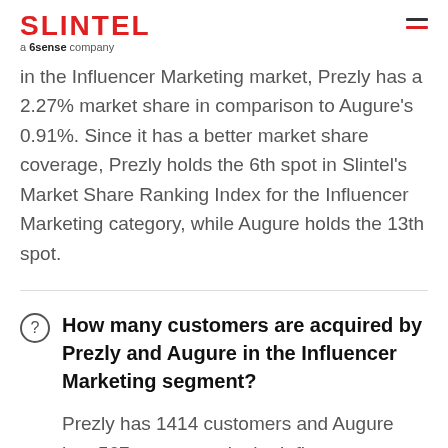SLINTEL a 6sense company
in the Influencer Marketing market, Prezly has a 2.27% market share in comparison to Augure’s 0.91%. Since it has a better market share coverage, Prezly holds the 6th spot in Slintel’s Market Share Ranking Index for the Influencer Marketing category, while Augure holds the 13th spot.
How many customers are acquired by Prezly and Augure in the Influencer Marketing segment?
Prezly has 1414 customers and Augure has 567 customers in the Influencer Marketing segment. Prezly has 847 more customers than Augure in this category.